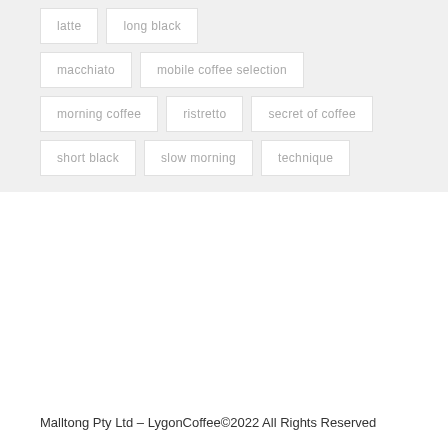latte
long black
macchiato
mobile coffee selection
morning coffee
ristretto
secret of coffee
short black
slow morning
technique
Malltong Pty Ltd – LygonCoffee©2022  All Rights Reserved